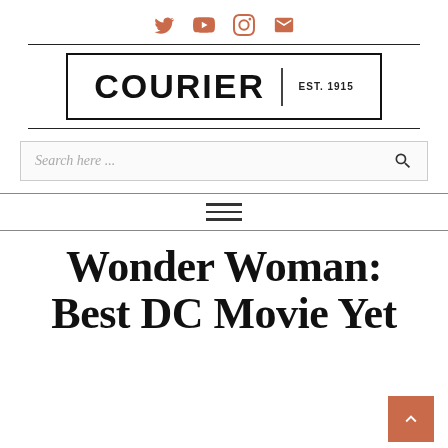Social media icons: Twitter, YouTube, Instagram, Email
[Figure (logo): COURIER newspaper logo with 'EST. 1915', black border box]
Search here ...
[Figure (other): Hamburger menu icon (three horizontal lines)]
Wonder Woman: Best DC Movie Yet